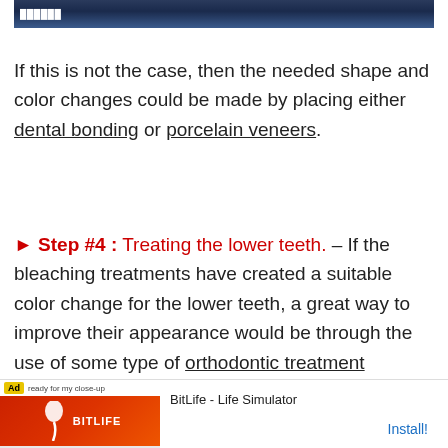[Figure (photo): Dark blue/navy image at top of page, appears to be a dental or promotional photo with text overlay]
If this is not the case, then the needed shape and color changes could be made by placing either dental bonding or porcelain veneers.
► Step #4 : Treating the lower teeth. – If the bleaching treatments have created a suitable color change for the lower teeth, a great way to improve their appearance would be through the use of some type of orthodontic treatment (braces). (Here's a diagram showing how crowded lower teeth are so...
[Figure (screenshot): Ad banner for BitLife - Life Simulator app with red background and sperm logo icon, showing Install button]